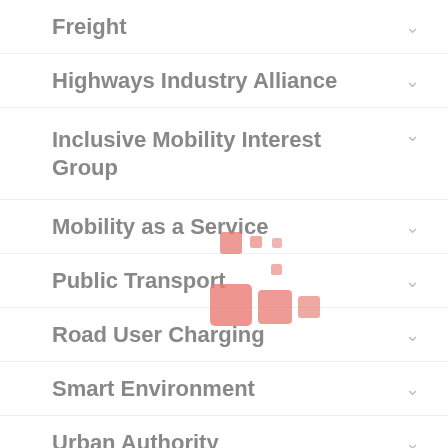Freight
Highways Industry Alliance
Inclusive Mobility Interest Group
Mobility as a Service
Public Transport
Road User Charging
Smart Environment
Urban Authority